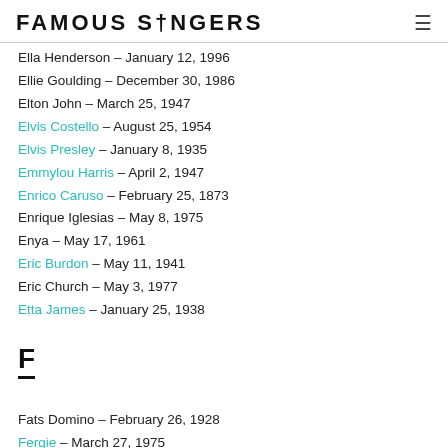FAMOUS SINGERS
Ella Henderson – January 12, 1996
Ellie Goulding – December 30, 1986
Elton John – March 25, 1947
Elvis Costello – August 25, 1954
Elvis Presley – January 8, 1935
Emmylou Harris – April 2, 1947
Enrico Caruso – February 25, 1873
Enrique Iglesias – May 8, 1975
Enya – May 17, 1961
Eric Burdon – May 11, 1941
Eric Church – May 3, 1977
Etta James – January 25, 1938
F
Fats Domino – February 26, 1928
Fergie – March 27, 1975